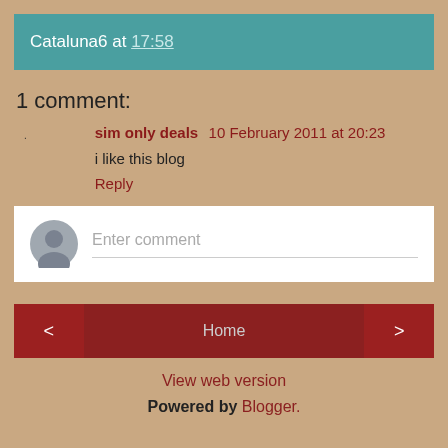Cataluna6 at 17:58
1 comment:
sim only deals  10 February 2011 at 20:23
i like this blog
Reply
Enter comment
< Home >
View web version
Powered by Blogger.